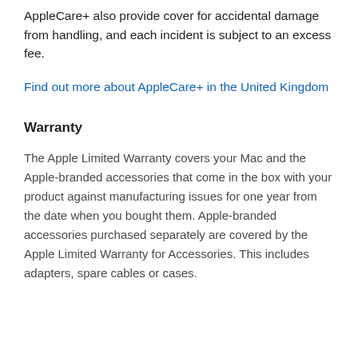AppleCare+ also provide cover for accidental damage from handling, and each incident is subject to an excess fee.
Find out more about AppleCare+ in the United Kingdom
Warranty
The Apple Limited Warranty covers your Mac and the Apple-branded accessories that come in the box with your product against manufacturing issues for one year from the date when you bought them. Apple-branded accessories purchased separately are covered by the Apple Limited Warranty for Accessories. This includes adapters, spare cables or cases.